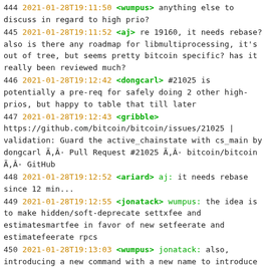444 2021-01-28T19:11:50 <wumpus> anything else to discuss in regard to high prio?
445 2021-01-28T19:11:52 <aj> re 19160, it needs rebase? also is there any roadmap for libmultiprocessing, it's out of tree, but seems pretty bitcoin specific? has it really been reviewed much?
446 2021-01-28T19:12:42 <dongcarl> #21025 is potentially a pre-req for safely doing 2 other high-prios, but happy to table that till later
447 2021-01-28T19:12:43 <gribble> https://github.com/bitcoin/bitcoin/issues/21025 | validation: Guard the active_chainstate with cs_main by dongcarl Ã,Â· Pull Request #21025 Ã,Â· bitcoin/bitcoin Ã,Â· GitHub
448 2021-01-28T19:12:52 <ariard> aj: it needs rebase since 12 min...
449 2021-01-28T19:12:55 <jonatack> wumpus: the idea is to make hidden/soft-deprecate settxfee and estimatesmartfee in favor of new setfeerate and estimatefeerate rpcs
450 2021-01-28T19:13:03 <wumpus> jonatack: also, introducing a new command with a new name to introduce a new unit , might be a bit overkill
451 2021-01-28T19:13:06 <ariard> but yeah libmultiprocess should be moved under bitcoin-core
452 2021-01-28T19:13:09 <wumpus> jonatack: okay
453 2021-01-28T19:13:10 <ariard> at least
454 2021-01-28T19:13:33 <wumpus> jonatack: I do agree